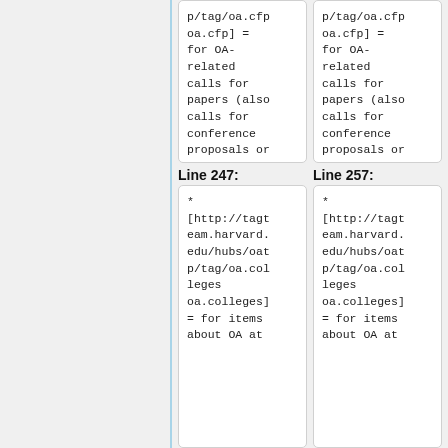p/tag/oa.cfp
oa.cfp] =
for OA-
related
calls for
papers (also
calls for
conference
proposals or
Presentation
s).
p/tag/oa.cfp
oa.cfp] =
for OA-
related
calls for
papers (also
calls for
conference
proposals or
Presentation
s).
Line 247:
Line 257:
* [http://tagteam.harvard.edu/hubs/oatp/tag/oa.colleges oa.colleges] = for items about OA at
* [http://tagteam.harvard.edu/hubs/oatp/tag/oa.colleges oa.colleges] = for items about OA at